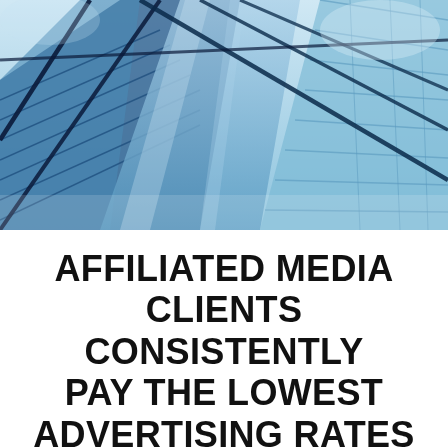[Figure (photo): Upward-looking photograph of modern glass skyscraper facades with blue tones, diagonal lines of steel and glass panels reflecting sky.]
AFFILIATED MEDIA CLIENTS CONSISTENTLY PAY THE LOWEST ADVERTISING RATES